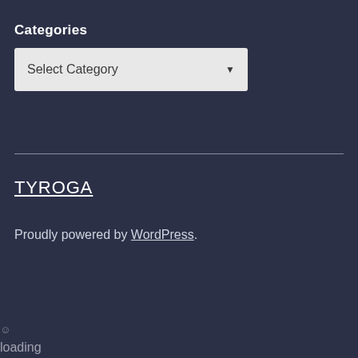Categories
[Figure (screenshot): A dropdown UI element labeled 'Select Category' with a downward arrow, on a light gray background]
TYROGA
Proudly powered by WordPress.
loading